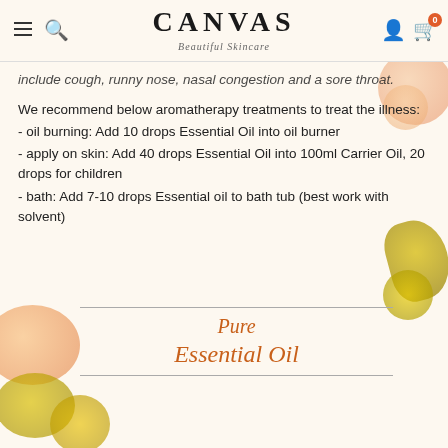CANVAS Beautiful Skincare — navigation header with menu, search, account, and cart icons
include cough, runny nose, nasal congestion and a sore throat.
We recommend below aromatherapy treatments to treat the illness:
- oil burning: Add 10 drops Essential Oil into oil burner
- apply on skin: Add 40 drops Essential Oil into 100ml Carrier Oil, 20 drops for children
- bath: Add 7-10 drops Essential oil to bath tub (best work with solvent)
[Figure (illustration): Cursive script logo reading 'Pure Essential Oil' in orange/brown color between two horizontal lines, with decorative flower and oil drop elements in the background]